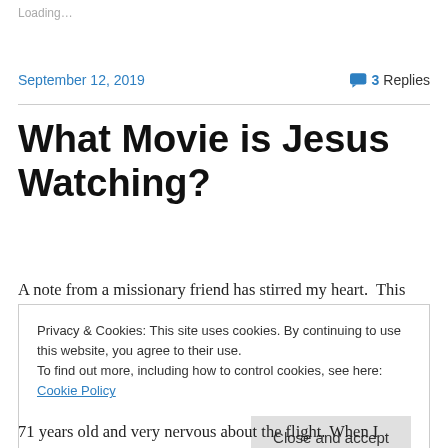Loading…
September 12, 2019
3 Replies
What Movie is Jesus Watching?
A note from a missionary friend has stirred my heart.  This
Privacy & Cookies: This site uses cookies. By continuing to use this website, you agree to their use.
To find out more, including how to control cookies, see here: Cookie Policy
Close and accept
71 years old and very nervous about the flight. When I